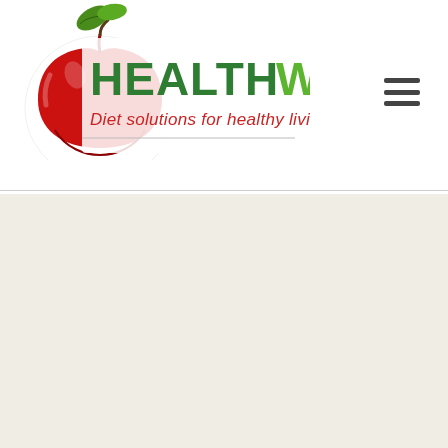[Figure (logo): HealthWatch logo featuring a red apple with green leaves, with text 'HEALTHWATCH' in green and dark green, and tagline 'Diet solutions for healthy living' in red below]
[Figure (other): Hamburger/navigation menu icon consisting of three horizontal dark lines]